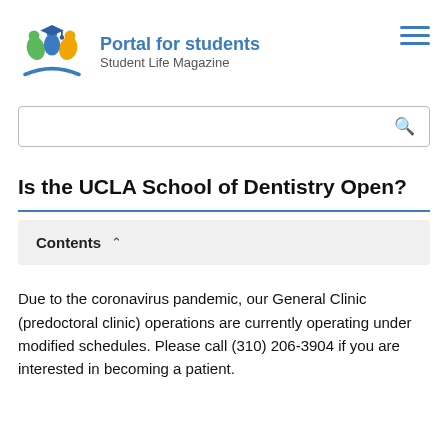Portal for students
Student Life Magazine
Is the UCLA School of Dentistry Open?
Contents
Due to the coronavirus pandemic, our General Clinic (predoctoral clinic) operations are currently operating under modified schedules. Please call (310) 206-3904 if you are interested in becoming a patient.